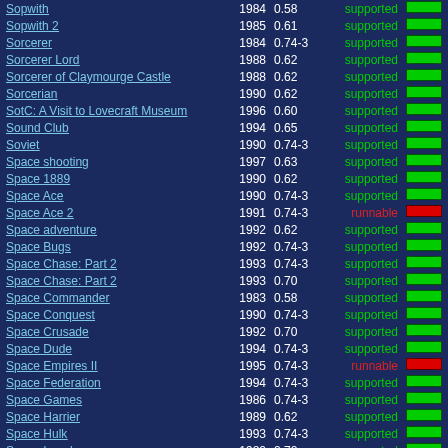| Name | Year | Version | Status | Bar |
| --- | --- | --- | --- | --- |
| Sopwith | 1984 | 0.58 | supported | green |
| Sopwith 2 | 1985 | 0.61 | supported | green |
| Sorcerer | 1984 | 0.74-3 | supported | green |
| Sorcerer Lord | 1988 | 0.62 | supported | green |
| Sorcerer of Claymourge Castle | 1988 | 0.62 | supported | green |
| Sorcerian | 1990 | 0.62 | supported | green |
| SotC: A Visit to Lovecraft Museum | 1996 | 0.60 | supported | green |
| Sound Club | 1994 | 0.65 | supported | green |
| Soviet | 1990 | 0.74-3 | supported | green |
| Space shooting | 1997 | 0.63 | supported | green |
| Space 1889 | 1990 | 0.62 | supported | green |
| Space Ace | 1990 | 0.74-3 | supported | green |
| Space Ace 2 | 1991 | 0.74-3 | runnable | red |
| Space adventure | 1992 | 0.62 | supported | green |
| Space Bugs | 1992 | 0.74-3 | supported | green |
| Space Chase: Part 2 | 1993 | 0.74-3 | supported | green |
| Space Chase: Part 2 | 1993 | 0.70 | supported | green |
| Space Commander | 1983 | 0.58 | supported | green |
| Space Conquest | 1990 | 0.74-3 | supported | green |
| Space Crusade | 1992 | 0.70 | supported | green |
| Space Dude | 1994 | 0.74-3 | supported | green |
| Space Empires II | 1995 | 0.74-3 | runnable | red |
| Space Federation | 1994 | 0.74-3 | supported | green |
| Space Games | 1986 | 0.74-3 | supported | green |
| Space Harrier | 1989 | 0.62 | supported | green |
| Space Hulk | 1993 | 0.74-3 | supported | green |
| Space Invaders | 1980 | 0.72 | supported | green |
| Space Invaders (The Return Of...) | 1996 | 0.58 | supported | green |
| Space Jam | 1996 | 0.74-3 | supported | green |
| Space Marines | 1995 | 0.71 | supported | green |
| Space MAX | 1992 | 0.62 | supported | green |
| Space Pilot | 1994 | 0.74-3 | supported | green |
| Space Quest 1 (ver. 2.2) | 1987 | 0.70 | supported | green |